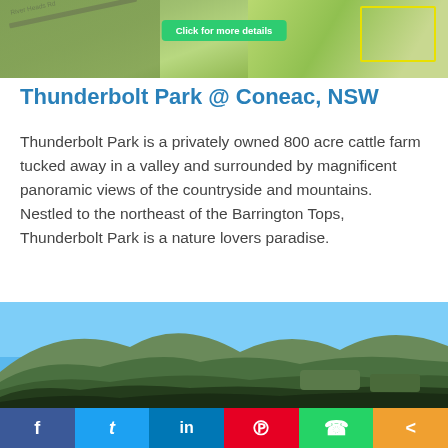[Figure (photo): Aerial view of a green farm property with a road and yellow property boundary outline, with a green 'Click for more details' button overlaid]
Thunderbolt Park @ Coneac, NSW
Thunderbolt Park is a privately owned 800 acre cattle farm tucked away in a valley and surrounded by magnificent panoramic views of the countryside and mountains. Nestled to the northeast of the Barrington Tops, Thunderbolt Park is a nature lovers paradise.
[Figure (photo): Landscape photo of Thunderbolt Park showing mountains, valleys, and forested areas under a blue sky]
f  t  in  P  WhatsApp  Share